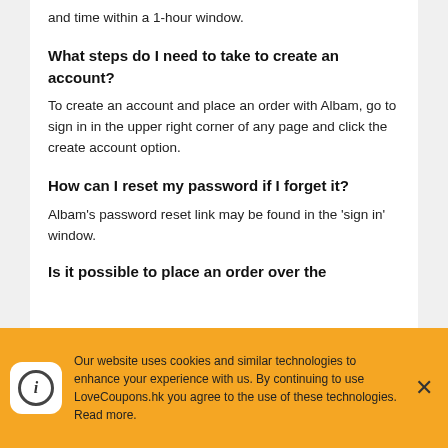and time within a 1-hour window.
What steps do I need to take to create an account?
To create an account and place an order with Albam, go to sign in in the upper right corner of any page and click the create account option.
How can I reset my password if I forget it?
Albam's password reset link may be found in the 'sign in' window.
Is it possible to place an order over the
Our website uses cookies and similar technologies to enhance your experience with us. By continuing to use LoveCoupons.hk you agree to the use of these technologies. Read more.